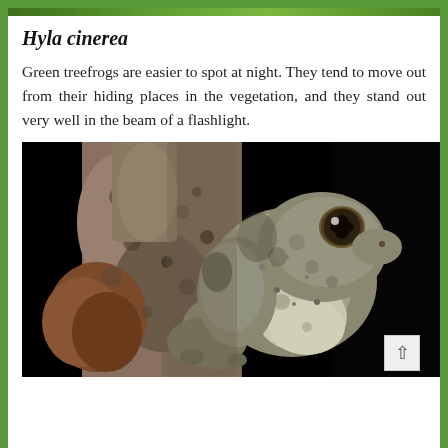[Figure (photo): Top strip showing green foliage/vegetation, partial view at top of page]
Hyla cinerea
Green treefrogs are easier to spot at night. They tend to move out from their hiding places in the vegetation, and they stand out very well in the beam of a flashlight.
[Figure (photo): Close-up photograph of a treefrog (Hyla cinerea) clinging to rough bark or wood surface against a dark/black background at night. The frog is grayish-brown with mottled texture, visible eye, and a round vocal sac.]